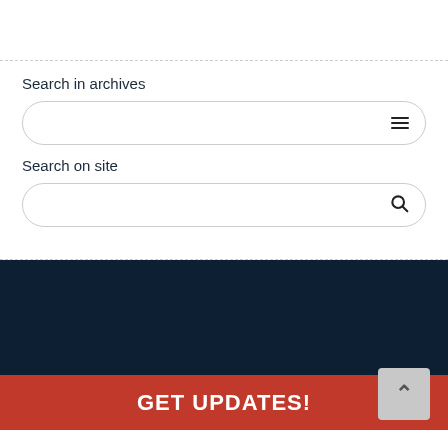Search in archives
[Figure (other): Search input box for archives with menu/hamburger icon on right]
Search on site
[Figure (other): Search input box for site with magnifying glass icon on right]
GET UPDATES!